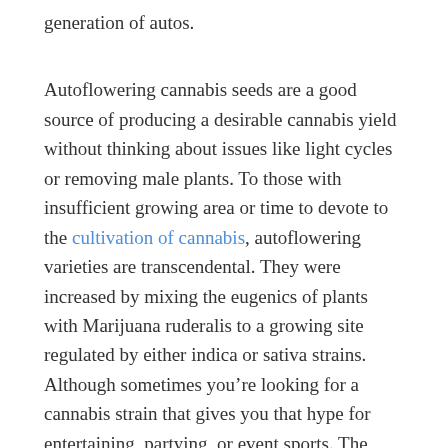The concept has changed, and the auto is the subject's generation of autos.
Autoflowering cannabis seeds are a good source of producing a desirable cannabis yield without thinking about issues like light cycles or removing male plants. To those with insufficient growing area or time to devote to the cultivation of cannabis, autoflowering varieties are transcendental. They were increased by mixing the eugenics of plants with Marijuana ruderalis to a growing site regulated by either indica or sativa strains. Although sometimes you're looking for a cannabis strain that gives you that hype for entertaining, partying, or event sports. The cannabis sativa-dominant is very known due to its enthusiasm and core hyping outcomes.
The sativa autoflower strains are huge plants, give sativa the ability to yield large buds and their yields are usually...